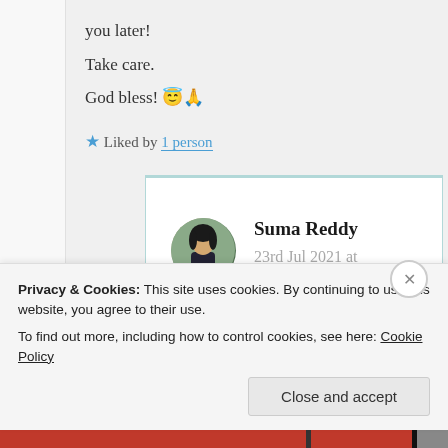you later!
Take care.
God bless! 😇🙏
★ Liked by 1 person
Suma Reddy
23rd Jul 2021 at
2:52 pm
Privacy & Cookies: This site uses cookies. By continuing to use this website, you agree to their use.
To find out more, including how to control cookies, see here: Cookie Policy
Close and accept